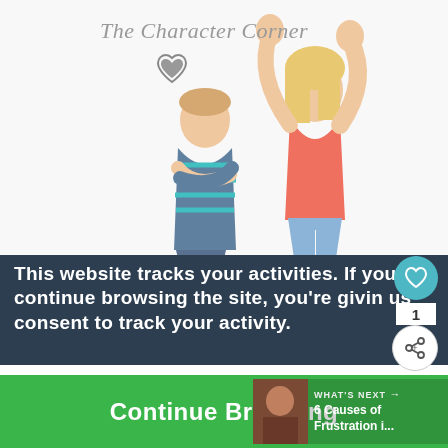[Figure (photo): Website screenshot showing 'The Character Corner' blog with a photo of a woman with raised hands standing behind a young boy with arms crossed, overlaid with a cookie consent notice and 'Continue Browsing' button]
This website tracks your activities. If you continue browsing the site, you're giving us consent to track your activity.
Continue Browsing
WHAT'S NEXT → 6 Causes of Frustration i...